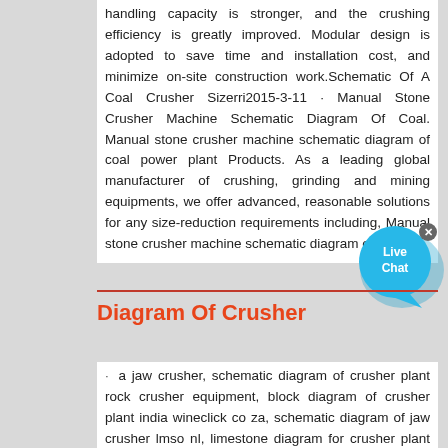handling capacity is stronger, and the crushing efficiency is greatly improved. Modular design is adopted to save time and installation cost, and minimize on-site construction work.Schematic Of A Coal Crusher Sizerri2015-3-11 · Manual Stone Crusher Machine Schematic Diagram Of Coal. Manual stone crusher machine schematic diagram of coal power plant Products. As a leading global manufacturer of crushing, grinding and mining equipments, we offer advanced, reasonable solutions for any size-reduction requirements including, Manual stone crusher machine schematic diagram of coal ...
[Figure (other): Live Chat widget button — blue circular chat bubble with 'Live Chat' text and a close (x) button]
Diagram Of Crusher
· a jaw crusher, schematic diagram of crusher plant rock crusher equipment, block diagram of crusher plant india wineclick co za, schematic diagram of jaw crusher lmso nl, limestone diagram for crusher plant immobilien tessin eu, schematic diagram of concrete crusher, flowchart diagram of how stoneGyratory Crusher Functional Diagrams MachinerySchematic Diagram Of Jaw Crusher In Hindi. 23 Oct 2017 The below image shows a sectional view of a typical